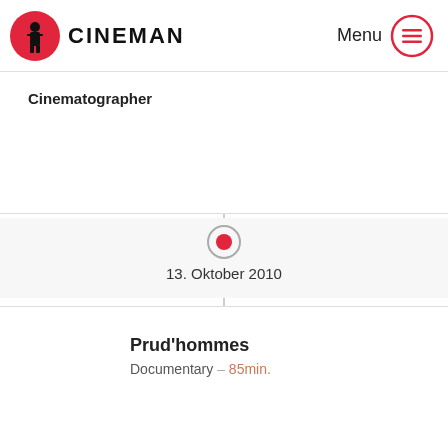CINEMAN — Menu
Cinematographer
13. Oktober 2010
Prud'hommes
Documentary – 85min.
Cinematographer